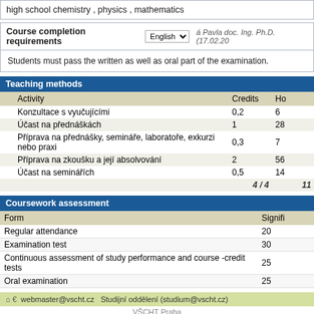high school chemistry , physics , mathematics
Course completion requirements
Students must pass the written as well as oral part of the examination.
|  | Activity | Credits | Ho |
| --- | --- | --- | --- |
|  | Konzultace s vyučujícími | 0,2 | 6 |
|  | Účast na přednáškách | 1 | 28 |
|  | Příprava na přednášky, semináře, laboratoře, exkurzi nebo praxi | 0,3 | 7 |
|  | Příprava na zkoušku a její absolvování | 2 | 56 |
|  | Účast na seminářích | 0,5 | 14 |
|  |  | 4 / 4 | 11 |
| Form | Signifi |
| --- | --- |
| Regular attendance | 20 |
| Examination test | 30 |
| Continuous assessment of study performance and course -credit tests | 25 |
| Oral examination | 25 |
webmaster@vscht.cz   Studijní oddělení (studium@vscht.cz)
VŠCHT Praha